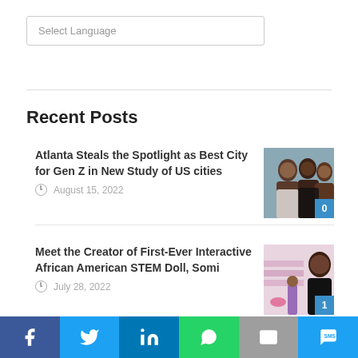Select Language
Recent Posts
Atlanta Steals the Spotlight as Best City for Gen Z in New Study of US cities
August 15, 2022
Meet the Creator of First-Ever Interactive African American STEM Doll, Somi
July 28, 2022
Fast-Growing Web3 Community Black@, Names Shondra Washington CEO
f  Twitter  in  WhatsApp  Email  SMS